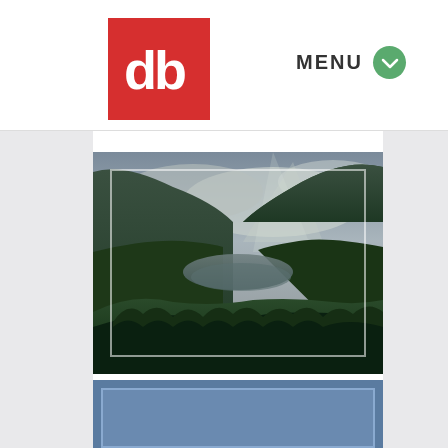[Figure (logo): Red square logo with white 'db' letters]
MENU
[Figure (photo): Landscape photograph of a Scottish loch or valley with forested hills and dramatic cloudy sky; a river or lake is visible in the valley below]
# 391. Sony's A7RII (formerly Leica it or not)
[Figure (photo): Partial view of a second photo with blue tones, partially cropped at bottom of page]